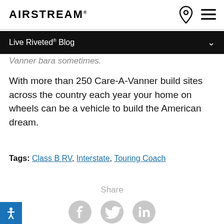AIRSTREAM
Live Riveted® Blog
Vanner bara sometimes.
With more than 250 Care-A-Vanner build sites across the country each year your home on wheels can be a vehicle to build the American dream.
Tags: Class B RV, Interstate, Touring Coach
Share